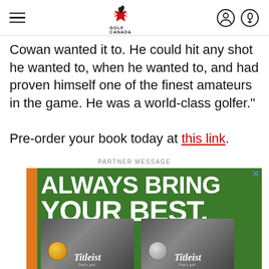Golf Canada (navigation header with logo, hamburger menu, and icons)
Cowan wanted it to. He could hit any shot he wanted to, when he wanted to, and had proven himself one of the finest amateurs in the game. He was a world-class golfer."
Pre-order your book today at this link.
PARTNER MESSAGE
[Figure (photo): Titleist advertisement with text 'ALWAYS BRING YOUR BEST.' on a green golf background with Titleist golf ball boxes, orange side bar, and close button.]